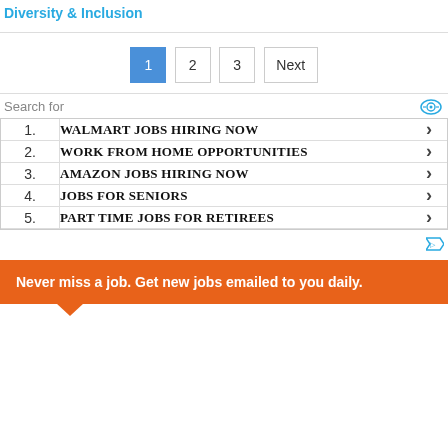Diversity & Inclusion
1 2 3 Next (pagination)
Search for
1. WALMART JOBS HIRING NOW
2. WORK FROM HOME OPPORTUNITIES
3. AMAZON JOBS HIRING NOW
4. JOBS FOR SENIORS
5. PART TIME JOBS FOR RETIREES
Never miss a job. Get new jobs emailed to you daily.